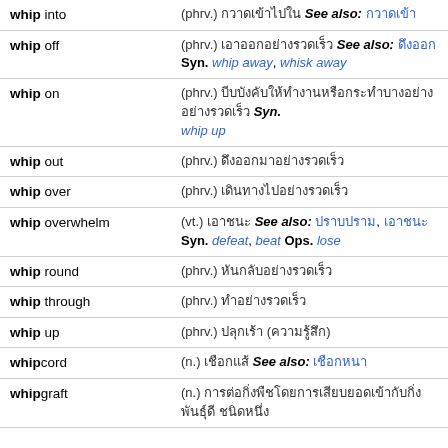whip into (phrv.) [Thai] See also: [Thai link]
whip off (phrv.) [Thai] See also: [Thai link] Syn. whip away, whisk away
whip on (phrv.) [Thai] Syn. whip up
whip out (phrv.) [Thai]
whip over (phrv.) [Thai]
whip overwhelm (vt.) [Thai] See also: [Thai link1], [Thai link2] Syn. defeat, beat Ops. lose
whip round (phrv.) [Thai]
whip through (phrv.) [Thai]
whip up (phrv.) [Thai] ([Thai])
whipcord (n.) [Thai] See also: [Thai link]
whipgraft (n.) [Thai] [Thai]